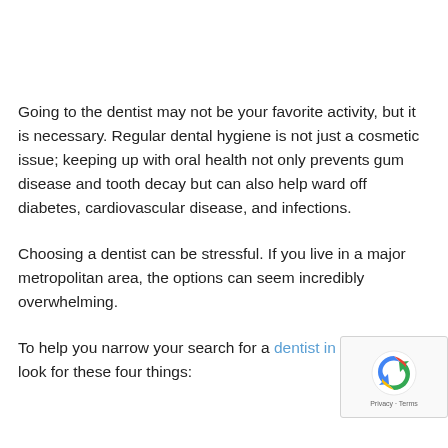Going to the dentist may not be your favorite activity, but it is necessary. Regular dental hygiene is not just a cosmetic issue; keeping up with oral health not only prevents gum disease and tooth decay but can also help ward off diabetes, cardiovascular disease, and infections.
Choosing a dentist can be stressful. If you live in a major metropolitan area, the options can seem incredibly overwhelming.
To help you narrow your search for a dentist in Houston, look for these four things: